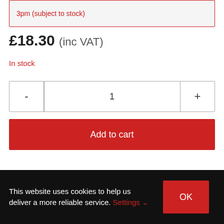3pm (subject to stock)
£18.30 (inc VAT)
In stock
- 1 +
Add to cart
SKU:
FS-IS-KH204SS1
This website uses cookies to help us deliver a more reliable service. Settings ✓